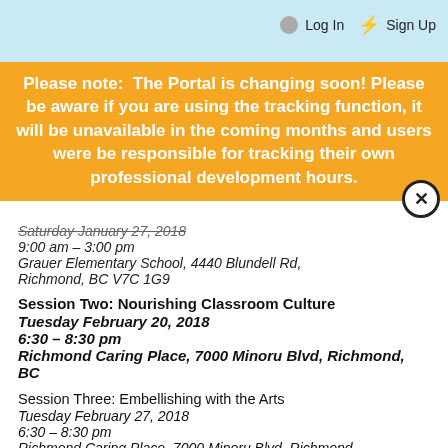Log In  Sign Up
Please note: The Portal is changing soon! Please be aware if you are using the tracking function, it will be unavailable in the coming months and users were be responsible for tracking their own professional development hours.
Saturday January 27, 2018
9:00 am – 3:00 pm
Grauer Elementary School, 4440 Blundell Rd, Richmond, BC V7C 1G9
Session Two: Nourishing Classroom Culture
Tuesday February 20, 2018
6:30 – 8:30 pm
Richmond Caring Place, 7000 Minoru Blvd, Richmond, BC
Session Three: Embellishing with the Arts
Tuesday February 27, 2018
6:30 – 8:30 pm
Richmond Caring Place, 7000 Minoru Blvd, Richmond, BC